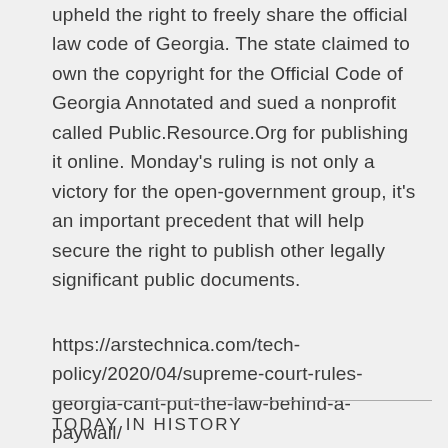upheld the right to freely share the official law code of Georgia. The state claimed to own the copyright for the Official Code of Georgia Annotated and sued a nonprofit called Public.Resource.Org for publishing it online. Monday's ruling is not only a victory for the open-government group, it's an important precedent that will help secure the right to publish other legally significant public documents.
https://arstechnica.com/tech-policy/2020/04/supreme-court-rules-georgia-cant-put-the-law-behind-a-paywall/
TODAY IN HISTORY